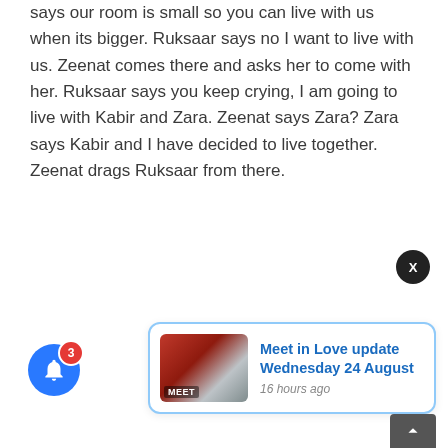says our room is small so you can live with us when its bigger. Ruksaar says no I want to live with us. Zeenat comes there and asks her to come with her. Ruksaar says you keep crying, I am going to live with Kabir and Zara. Zeenat says Zara? Zara says Kabir and I have decided to live together. Zeenat drags Ruksaar from there.
[Figure (screenshot): Notification popup card with blue border showing 'Meet in Love update Wednesday 24 August' with a thumbnail image and '16 hours ago' timestamp. Blue circular bell button with red badge showing '3' in bottom left. Dark X close button. Dark scroll-to-top arrow button at bottom right.]